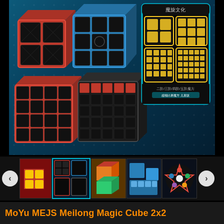[Figure (photo): Main product image showing four Rubik's cubes (2x2, 3x3, 4x4, 5x5) with carbon fiber stickers in red/blue color scheme, alongside the product packaging box showing the same four cubes on a teal-bordered black box with Chinese branding. Dark teal gradient background.]
[Figure (photo): Thumbnail row showing 6 product images: a red cube set, the carbon fiber set in dark background, stacked stickerless colorful cubes, a blue 2x2/3x3 pair, a colorful flower/star pattern cube, and a partially visible white cube. Navigation arrows on left and right ends.]
MoYu MEJS Meilong Magic Cube 2x2